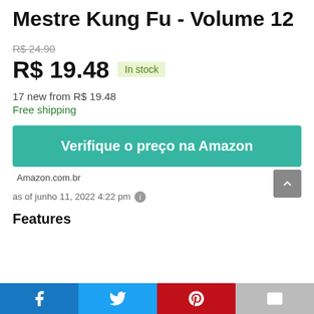Mestre Kung Fu - Volume 12
R$ 24,90 (strikethrough)
R$ 19.48  In stock
17 new from R$ 19.48
Free shipping
Verifique o preço na Amazon
Amazon.com.br
as of junho 11, 2022 4:22 pm ℹ
Features